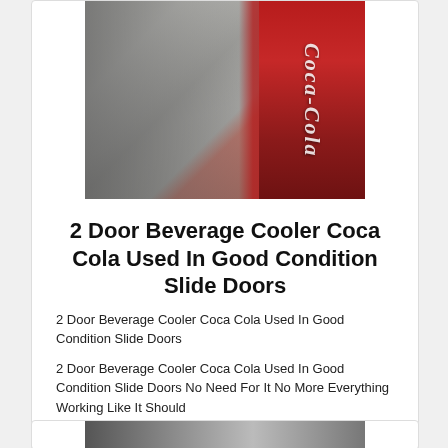[Figure (photo): A 2-door Coca-Cola beverage cooler with sliding glass doors, Coca-Cola branding visible on the right side panel, refrigerator interior visible through glass.]
2 Door Beverage Cooler Coca Cola Used In Good Condition Slide Doors
2 Door Beverage Cooler Coca Cola Used In Good Condition Slide Doors
2 Door Beverage Cooler Coca Cola Used In Good Condition Slide Doors No Need For It No More Everything Working Like It Should
$1350.00
[Figure (photo): Partial view of another listing item image at the bottom of the page.]